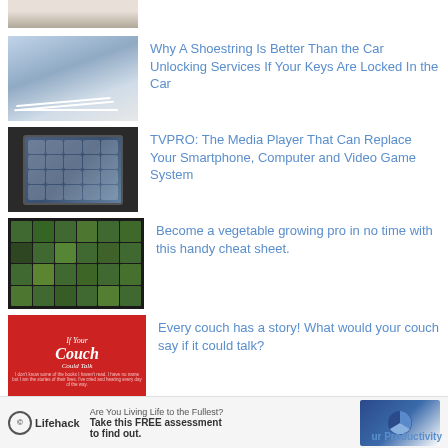[Figure (photo): Partial top image, cropped]
[Figure (photo): Car door with shoestring/white cable]
Why A Shoestring Is Better Than the Car Unlocking Services If Your Keys Are Locked In the Car
[Figure (photo): Tablet/media player mounted on wall with app icons]
TVPRO: The Media Player That Can Replace Your Smartphone, Computer and Video Game System
[Figure (photo): Vegetable growing cheat sheet with grid of vegetables]
Become a vegetable growing pro in no time with this handy cheat sheet.
[Figure (photo): Red book cover: If Your Couch Could Talk]
Every couch has a story! What would your couch say if it could talk?
TRENDING IN TECHNOLOGY
25 Best Apps for Apple Watch for Ultimate
[Figure (screenshot): Lifehack banner ad: Are You Living Life to the Fullest? Take this FREE assessment to find out. ur Productivity]